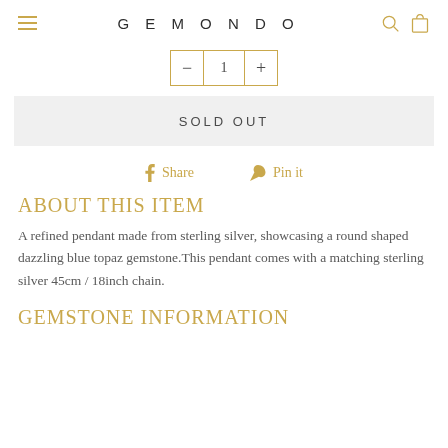GEMONDO
SOLD OUT
Share  Pin it
ABOUT THIS ITEM
A refined pendant made from sterling silver, showcasing a round shaped dazzling blue topaz gemstone.This pendant comes with a matching sterling silver 45cm / 18inch chain.
GEMSTONE INFORMATION